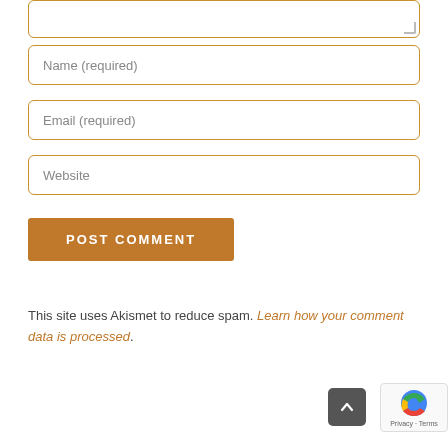[Figure (screenshot): Partial textarea input box with resize handle, top portion cut off]
Name (required)
Email (required)
Website
POST COMMENT
This site uses Akismet to reduce spam. Learn how your comment data is processed.
[Figure (screenshot): Back to top arrow button (dark gray rounded square) and reCAPTCHA badge in bottom right]